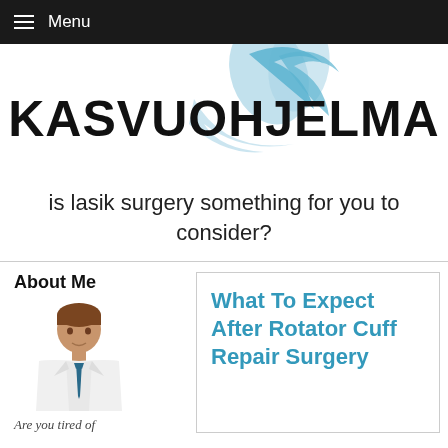Menu
[Figure (logo): Kasvuohjelma logo with blue crescent/swoosh graphic above the text]
is lasik surgery something for you to consider?
About Me
[Figure (illustration): Cartoon illustration of a male doctor/professional in white coat with blue tie]
Are you tired of
What To Expect After Rotator Cuff Repair Surgery